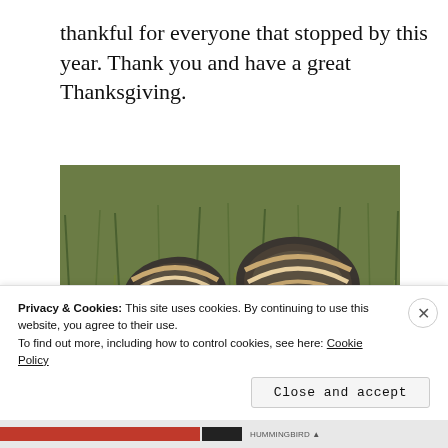thankful for everyone that stopped by this year. Thank you and have a great Thanksgiving.
[Figure (photo): Two wild turkeys photographed from behind, standing in green grass, showing their fanned tail feathers and patterned back feathers.]
Privacy & Cookies: This site uses cookies. By continuing to use this website, you agree to their use. To find out more, including how to control cookies, see here: Cookie Policy